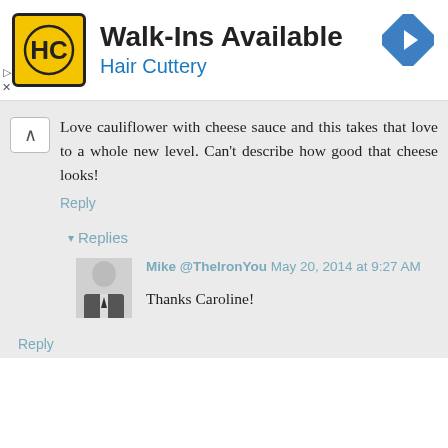[Figure (advertisement): Hair Cuttery ad banner with logo, 'Walk-Ins Available' text, and navigation icon]
Love cauliflower with cheese sauce and this takes that love to a whole new level. Can't describe how good that cheese looks!
Reply
▾ Replies
Mike @TheIronYou May 20, 2014 at 9:27 AM
Thanks Caroline!
Reply